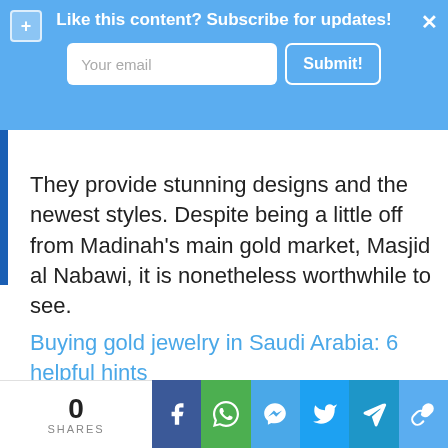Like this content? Subscribe for updates!
They provide stunning designs and the newest styles. Despite being a little off from Madinah's main gold market, Masjid al Nabawi, it is nonetheless worthwhile to see.
Buying gold jewelry in Saudi Arabia: 6 helpful hints
0 SHARES